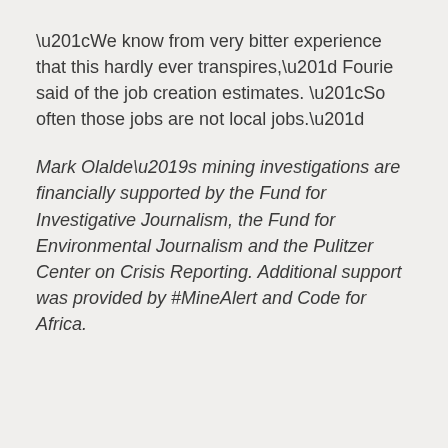“We know from very bitter experience that this hardly ever transpires,” Fourie said of the job creation estimates. “So often those jobs are not local jobs.”
Mark Olalde’s mining investigations are financially supported by the Fund for Investigative Journalism, the Fund for Environmental Journalism and the Pulitzer Center on Crisis Reporting. Additional support was provided by #MineAlert and Code for Africa.